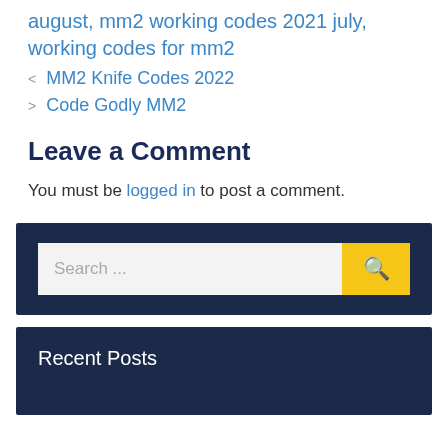august, mm2 working codes 2021 july, working codes for mm2
MM2 Knife Codes 2022
Code Godly MM2
Leave a Comment
You must be logged in to post a comment.
Search ...
Recent Posts